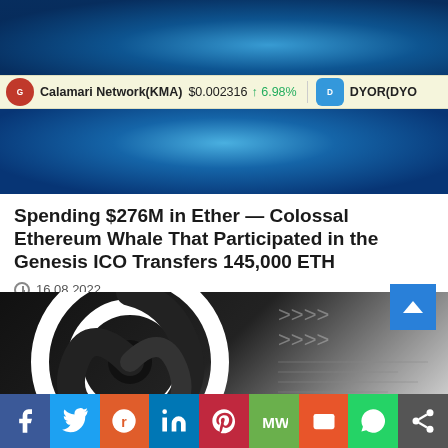[Figure (photo): Blue ocean/whale abstract image, top portion]
Calamari Network(KMA) $0.002316 ↑ 6.98%   DYOR(DYO...
[Figure (photo): Blue ocean/whale abstract image, middle portion]
Spending $276M in Ether — Colossal Ethereum Whale That Participated in the Genesis ICO Transfers 145,000 ETH
16.08.2022
[Figure (logo): Black and white circular spiral logo on dark background with grey arrows/tech design on right side]
f  Twitter  Reddit  in  Pinterest  MW  Mix  WhatsApp  Share